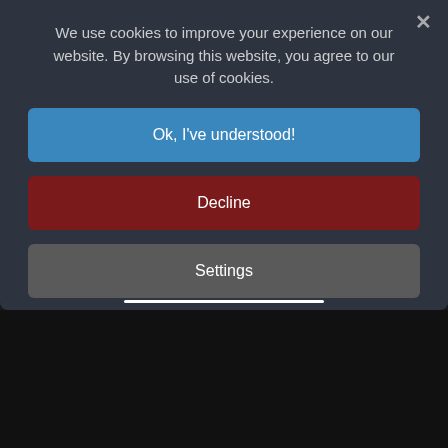We use cookies to improve your experience on our website. By browsing this website, you agree to our use of cookies.
Ok, I've understood!
Decline
Settings
More Info